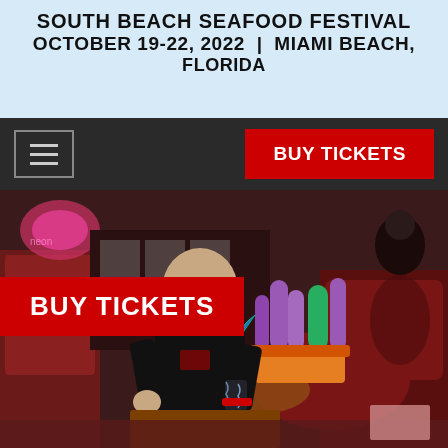SOUTH BEACH SEAFOOD FESTIVAL OCTOBER 19-22, 2022 | MIAMI BEACH, FLORIDA
BUY TICKETS (nav bar button)
[Figure (photo): Man in black shirt laughing loudly inside a restaurant/bar with red leather booths, colorful cactus centerpieces, neon lights in background]
BUY TICKETS (overlay on photo)